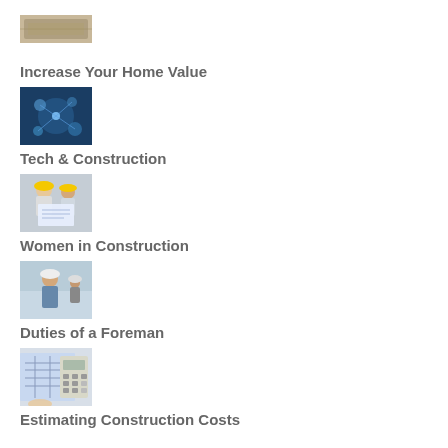[Figure (photo): Partial photo of money/cash at the top of the page]
Increase Your Home Value
[Figure (photo): Tech-related image with glowing network nodes/lights]
Tech & Construction
[Figure (photo): Two workers wearing hard hats reviewing blueprints]
Women in Construction
[Figure (photo): Woman in hard hat and blue shirt at a construction site]
Duties of a Foreman
[Figure (photo): Blueprint and calculator on a desk]
Estimating Construction Costs